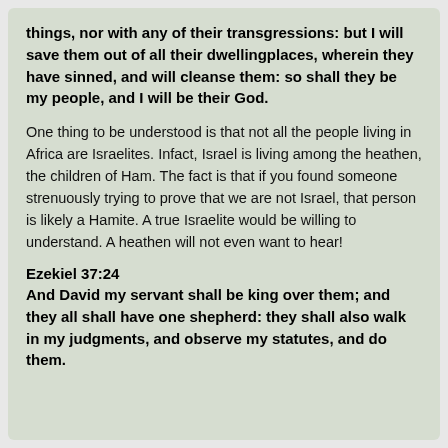things, nor with any of their transgressions: but I will save them out of all their dwellingplaces, wherein they have sinned, and will cleanse them: so shall they be my people, and I will be their God.
One thing to be understood is that not all the people living in Africa are Israelites. Infact, Israel is living among the heathen, the children of Ham. The fact is that if you found someone strenuously trying to prove that we are not Israel, that person is likely a Hamite. A true Israelite would be willing to understand. A heathen will not even want to hear!
Ezekiel 37:24
And David my servant shall be king over them; and they all shall have one shepherd: they shall also walk in my judgments, and observe my statutes, and do them.